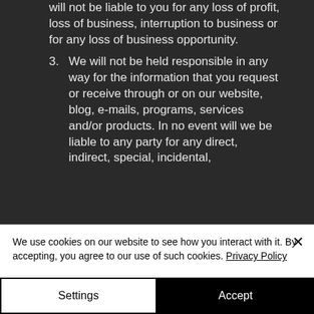will not be liable to you for any loss of profit, loss of business, interruption to business or for any loss of business opportunity.
3. We will not be held responsible in any way for the information that you request or receive through or on our website, blog, e-mails, programs, services and/or products. In no event will we be liable to any party for any direct, indirect, special, incidental,
We use cookies on our website to see how you interact with it. By accepting, you agree to our use of such cookies. Privacy Policy
Settings
Accept